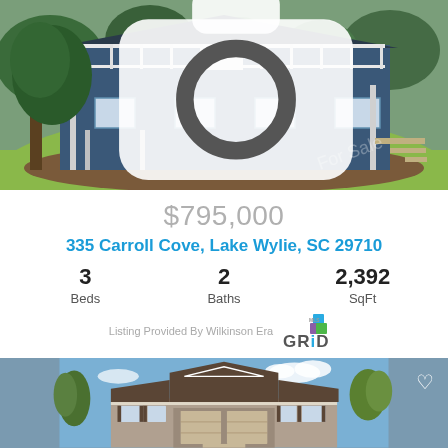[Figure (photo): Blue ranch-style house with white railings on upper deck, green lawn, large tree on left, brown mulch beds]
📷 42
$795,000
335 Carroll Cove, Lake Wylie, SC 29710
3 Beds   2 Baths   2,392 SqFt
Listing Provided By Wilkinson Era
[Figure (photo): Rendered illustration of a new-construction craftsman-style house with brown shingle roof, beige siding, white trim, blue sky background]